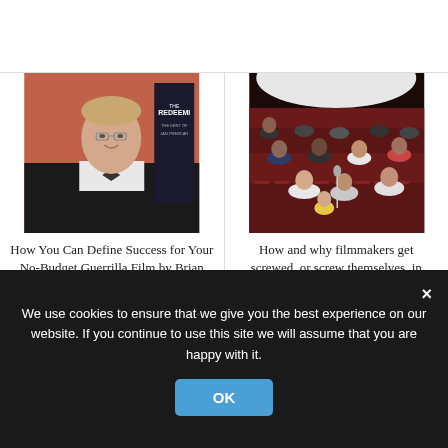[Figure (photo): Man in tuxedo with bow tie at a film event, standing in front of a movie poster for 'The Redeemer']
How You Can Define Success for Your No-Budget Guerrilla Film by Brian Barnes
[Figure (photo): Audience seated in a movie theater with red velvet seats, watching a film]
How and why filmmakers get screwed, or screw themselves, in distribution (and how to avoid...
We use cookies to ensure that we give you the best experience on our website. If you continue to use this site we will assume that you are happy with it.